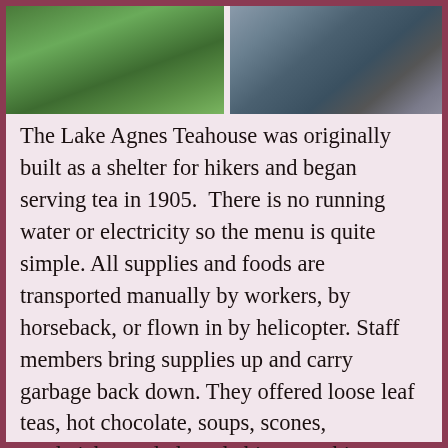[Figure (photo): Two photos side by side: left shows a green forested mountain scene with pine trees; right shows a person sitting on rocks with a dog.]
The Lake Agnes Teahouse was originally built as a shelter for hikers and began serving tea in 1905.  There is no running water or electricity so the menu is quite simple. All supplies and foods are transported manually by workers, by horseback, or flown in by helicopter. Staff members bring supplies up and carry garbage back down. They offered loose leaf teas, hot chocolate, soups, scones, sandwiches, salads and chips – nothing fancy and cash only.  We sat outside with views of the Canadian Rockies and Lake